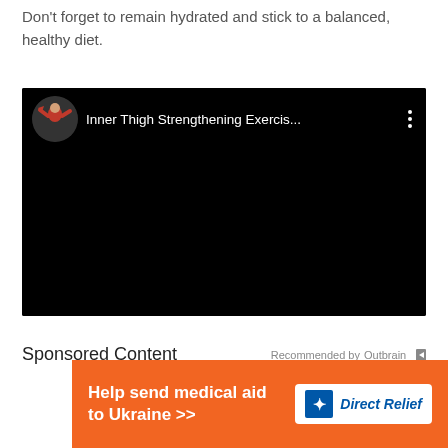Don't forget to remain hydrated and stick to a balanced, healthy diet.
[Figure (screenshot): YouTube video embed showing 'Inner Thigh Strengthening Exercis...' with a woman in a red top gesturing, on a black background with three-dot menu icon]
Sponsored Content
Recommended by Outbrain
[Figure (infographic): Orange advertisement banner reading 'Help send medical aid to Ukraine >>' with Direct Relief logo on white background]